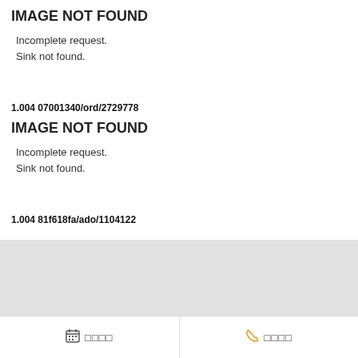IMAGE NOT FOUND
Incomplete request.
Sink not found.
1.004 07001340/ord/2729778
IMAGE NOT FOUND
Incomplete request.
Sink not found.
1.004 81f618fa/ado/1104122
[Figure (other): Gray placeholder box representing a missing image]
📅 □□□□   📞 □□□□